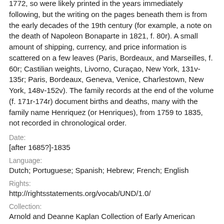1772, so were likely printed in the years immediately following, but the writing on the pages beneath them is from the early decades of the 19th century (for example, a note on the death of Napoleon Bonaparte in 1821, f. 80r). A small amount of shipping, currency, and price information is scattered on a few leaves (Paris, Bordeaux, and Marseilles, f. 60r; Castilian weights, Livorno, Curaçao, New York, 131v-135r; Paris, Bordeaux, Geneva, Venice, Charlestown, New York, 148v-152v). The family records at the end of the volume (f. 171r-174r) document births and deaths, many with the family name Henriquez (or Henriques), from 1759 to 1835, not recorded in chronological order.
Date:
[after 1685?]-1835
Language:
Dutch; Portuguese; Spanish; Hebrew; French; English
Rights:
http://rightsstatements.org/vocab/UND/1.0/
Collection:
Arnold and Deanne Kaplan Collection of Early American Judaica (University of Pennsylvania)
Call Number: